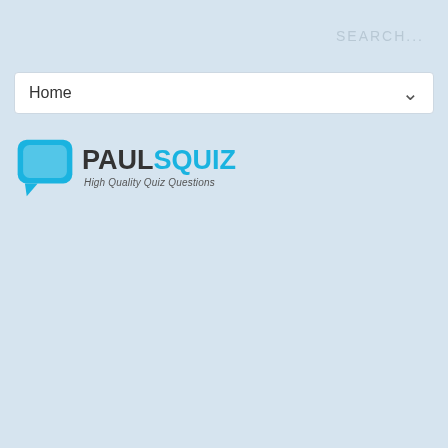SEARCH...
Home
[Figure (logo): PaulsQuiz logo with speech bubble icon in blue, text PAULSQUIZ in bold and tagline High Quality Quiz Questions]